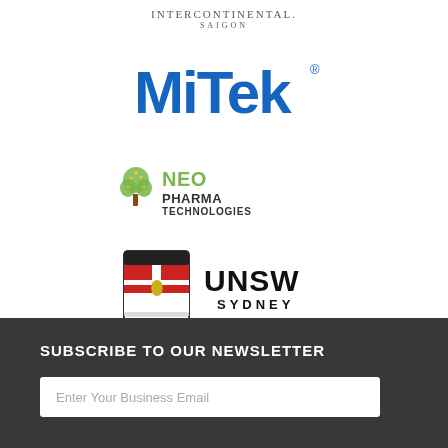[Figure (logo): InterContinental Saigon hotel logo - text based logo with INTERCONTINENTAL in serif font and SAIGON below in spaced letters]
[Figure (logo): MiTek logo in bold blue sans-serif font with registered trademark symbol]
[Figure (logo): NeoPharma Technologies logo with green tree icon and text NEO in green and PHARMA TECHNOLOGIES in dark]
[Figure (logo): UNSW Sydney logo with red and white shield crest and UNSW SYDNEY text in black]
SUBSCRIBE TO OUR NEWSLETTER
Enter Your Business Email